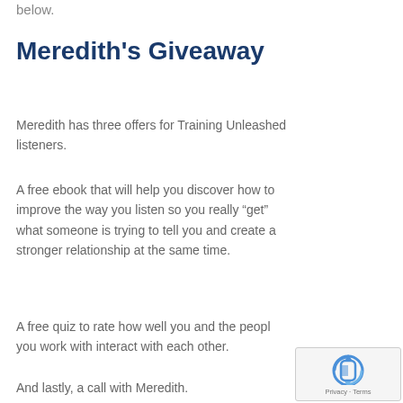below.
Meredith's Giveaway
Meredith has three offers for Training Unleashed listeners.
A free ebook that will help you discover how to improve the way you listen so you really “get” what someone is trying to tell you and create a stronger relationship at the same time.
A free quiz to rate how well you and the people you work with interact with each other.
And lastly, a call with Meredith.